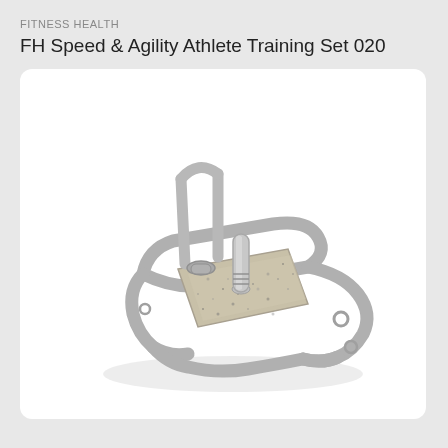FITNESS HEALTH
FH Speed & Agility Athlete Training Set 020
[Figure (photo): Product photo of FH Speed & Agility Athlete Training Set 020 — a silver/grey metal sled/training apparatus with an oval-shaped base frame, a vertical upright handle bar at the back, and a rectangular concrete-filled weighted base plate in the center with a vertical pole/post. The device is shown in a 3D perspective view on a white background.]